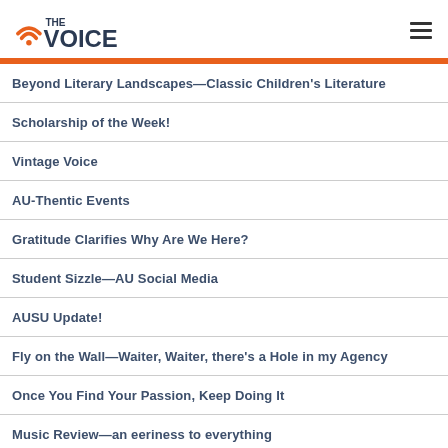THE VOICE
Beyond Literary Landscapes—Classic Children's Literature
Scholarship of the Week!
Vintage Voice
AU-Thentic Events
Gratitude Clarifies Why Are We Here?
Student Sizzle—AU Social Media
AUSU Update!
Fly on the Wall—Waiter, Waiter, there's a Hole in my Agency
Once You Find Your Passion, Keep Doing It
Music Review—an eeriness to everything
Dear Barb—Spouse Spending
AUSU Update!